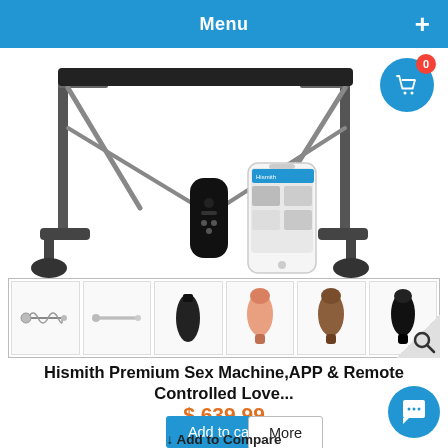Menu
[Figure (photo): Product photo of Hismith sex machine with remote control and smartphone app, showing the machine frame, a remote controller, and a smartphone displaying the app]
[Figure (photo): Thumbnail images of product accessories: spring rod, metal rod, black attachment, pink attachment, brown attachment, black attachment]
Hismith Premium Sex Machine,APP & Remote Controlled Love...
$ 639.99
Add to cart
More
Add to Compare